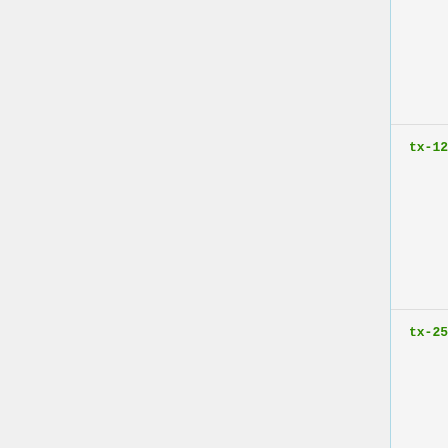| Parameter | Description |
| --- | --- |
| tx-128-255 (integer) | Total count of transmitted 128 to 255 byte frames |
| tx-256-511 (integer) | Total count of transmitted 256 to 511 byte frames |
| tx-512-1023 (integer) | Total count of transmitted 512 to 1023 byte frames |
| tx-1024-1518 (integer) | Total count of transmitted 1024 to 1518 byte frames |
| tx-1519-max (integer) | Total count of... |